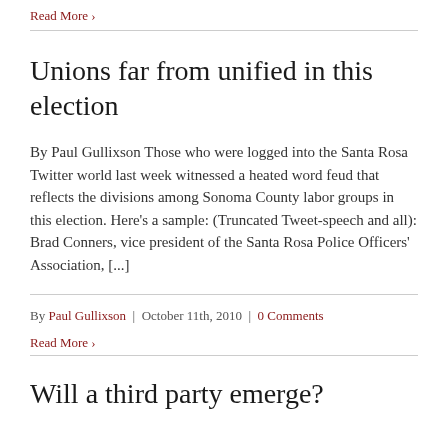Read More ›
Unions far from unified in this election
By Paul Gullixson Those who were logged into the Santa Rosa Twitter world last week witnessed a heated word feud that reflects the divisions among Sonoma County labor groups in this election. Here's a sample: (Truncated Tweet-speech and all): Brad Conners, vice president of the Santa Rosa Police Officers' Association, [...]
By Paul Gullixson | October 11th, 2010 | 0 Comments
Read More ›
Will a third party emerge?